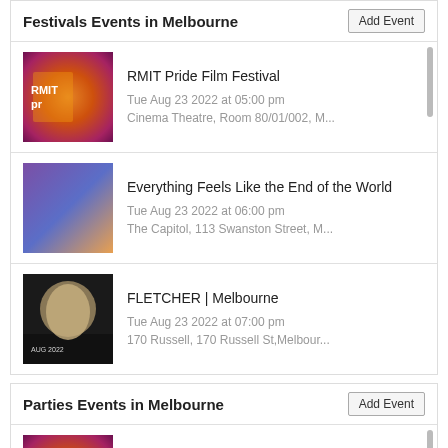Festivals Events in Melbourne
RMIT Pride Film Festival
Tue Aug 23 2022 at 05:00 pm
Cinema Theatre, Room 80/01/002, M...
Everything Feels Like the End of the World
Tue Aug 23 2022 at 06:00 pm
The Capitol, 113 Swanston Street, M...
FLETCHER | Melbourne
Tue Aug 23 2022 at 07:00 pm
170 Russell, 170 Russell St,Melbour...
Parties Events in Melbourne
RMIT Pride Film Festival
Tue Aug 23 2022 at 05:00 pm
Cinema Theatre, Room 80/01/002, M...
Dance Party Revolution: Jude Perl, Daniel Connell, Ben Searle + more